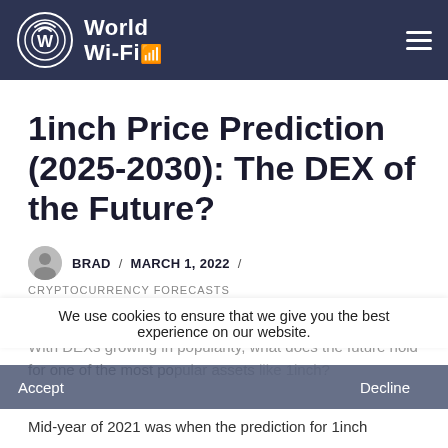World Wi-Fi
1inch Price Prediction (2025-2030): The DEX of the Future?
BRAD / MARCH 1, 2022 / CRYPTOCURRENCY FORECASTS
We use cookies to ensure that we give you the best experience on our website.
With DEXs growing in popularity, what does the future hold for one of the most popular assets like 1inch? Mid-year of 2021 was when the prediction for 1inch